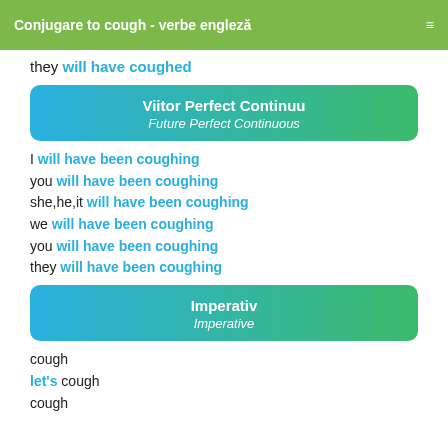Conjugare to cough - verbe engleză
they will have coughed
Viitor Perfect Continuu / Future Perfect Continuous
I will have been coughing
you will have been coughing
she,he,it will have been coughing
we will have been coughing
you will have been coughing
they will have been coughing
Imperativ / Imperative
cough
let's cough
cough